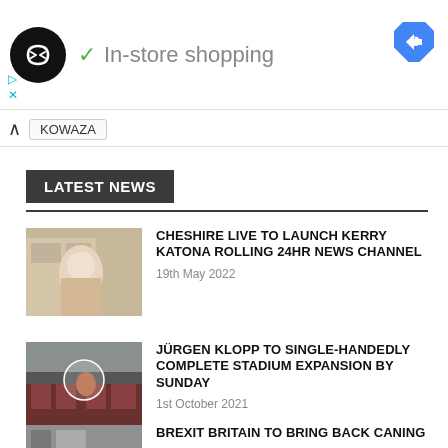[Figure (screenshot): Ad banner with black circular logo with infinity-like symbol, green checkmark, 'In-store shopping' text, blue diamond navigation icon, cyan play and close buttons]
KOWAZA
LATEST NEWS
CHESHIRE LIVE TO LAUNCH KERRY KATONA ROLLING 24HR NEWS CHANNEL
19th May 2022
JÜRGEN KLOPP TO SINGLE-HANDEDLY COMPLETE STADIUM EXPANSION BY SUNDAY
1st October 2021
BREXIT BRITAIN TO BRING BACK CANING